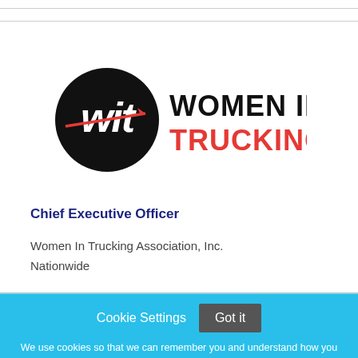[Figure (logo): Women In Trucking logo: black circle with stylized 'wit' letters and red arrow, next to text 'WOMEN IN' in black and 'TRUCKING' in red]
Chief Executive Officer
Women In Trucking Association, Inc.
Nationwide
Cookie Settings  Got it
We use cookies so that we can remember you and understand how you use our site. If you do not agree with our use of cookies, please change the current settings found in our Cookie Policy. Otherwise, you agree to the use of the cookies as they are currently set.